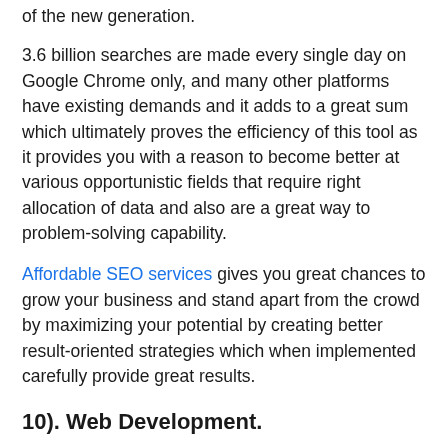of the new generation.
3.6 billion searches are made every single day on Google Chrome only, and many other platforms have existing demands and it adds to a great sum which ultimately proves the efficiency of this tool as it provides you with a reason to become better at various opportunistic fields that require right allocation of data and also are a great way to problem-solving capability.
Affordable SEO services gives you great chances to grow your business and stand apart from the crowd by maximizing your potential by creating better result-oriented strategies which when implemented carefully provide great results.
10). Web Development.
A great way to upgrade and structure resources in the best way possible by developing a better interface is always a better idea when it comes to outshining your